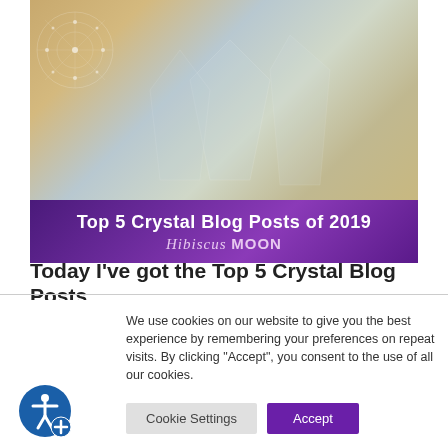[Figure (photo): Hero banner image showing crystal/quartz stones on a wooden surface with geometric star/flower overlay on the left side, and a purple gradient banner overlay at the bottom reading 'Top 5 Crystal Blog Posts of 2019' with 'Hibiscus MOON' branding]
Today I've got the Top 5 Crystal Blog Posts
We use cookies on our website to give you the best experience by remembering your preferences on repeat visits. By clicking "Accept", you consent to the use of all our cookies.
Cookie Settings  Accept